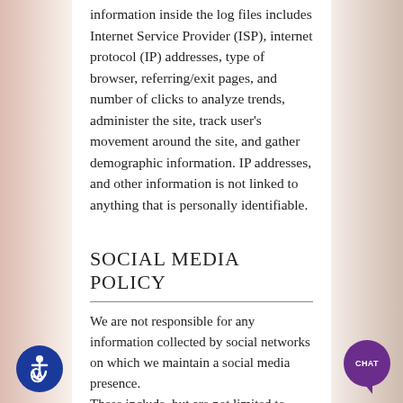information inside the log files includes Internet Service Provider (ISP), internet protocol (IP) addresses, type of browser, referring/exit pages, and number of clicks to analyze trends, administer the site, track user's movement around the site, and gather demographic information. IP addresses, and other information is not linked to anything that is personally identifiable.
SOCIAL MEDIA POLICY
We are not responsible for any information collected by social networks on which we maintain a social media presence.
These include, but are not limited to, Facebook, Google, Twitter, Instagram, YouTube and LinkedIn.